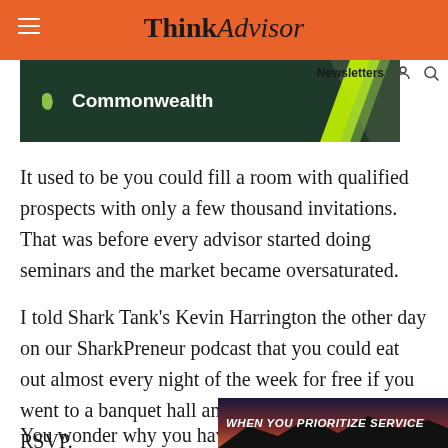ThinkAdvisor
[Figure (screenshot): Commonwealth financial advisor advertisement banner with dark green background, Commonwealth logo with yellow/green leaf icon, and diagonal yellow stripe accent]
It used to be you could fill a room with qualified prospects with only a few thousand invitations. That was before every advisor started doing seminars and the market became oversaturated.
I told Shark Tank's Kevin Harrington the other day on our SharkPreneur podcast that you could eat out almost every night of the week for free if you went to a banquet hall and said you forgot to RSVP.
You wonder why you have p
[Figure (screenshot): Overlay advertisement with text WHEN YOU PRIORITIZE SERVICE on dark background with mountain silhouette at dusk]